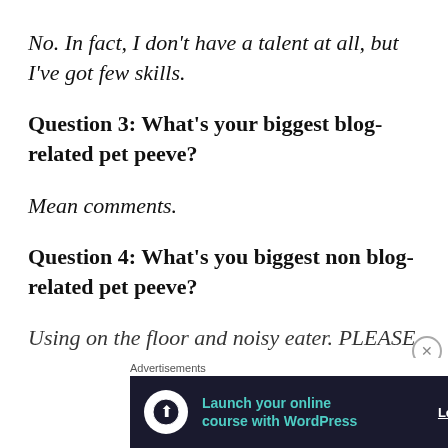No. In fact, I don't have a talent at all, but I've got few skills.
Question 3: What's your biggest blog-related pet peeve?
Mean comments.
Question 4: What's you biggest non blog-related pet peeve?
Using on the floor and noisy eater. PLEASE
Advertisements
[Figure (other): Advertisement banner: Launch your online course with WordPress, with Learn More button and close button]